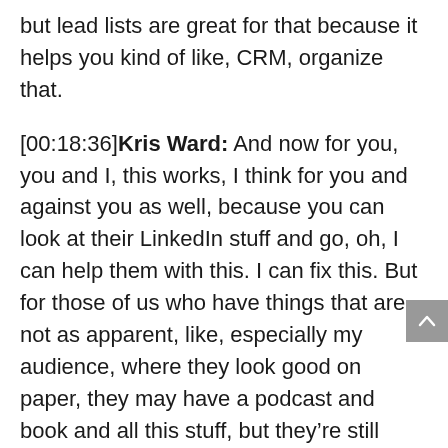but lead lists are great for that because it helps you kind of like, CRM, organize that.
[00:18:36] Kris Ward: And now for you, you and I, this works, I think for you and against you as well, because you can look at their LinkedIn stuff and go, oh, I can help them with this. I can fix this. But for those of us who have things that are not as apparent, like, especially my audience, where they look good on paper, they may have a podcast and book and all this stuff, but they’re still working way too many hours where they thought they would be 10 years in.
[00:18:59] So in that I don’t really have any